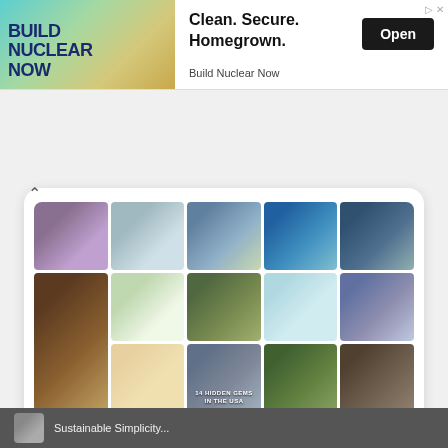[Figure (screenshot): Advertisement banner for Build Nuclear Now. Left side shows a promotional image with teal/green gradient background with 'BUILD NUCLEAR NOW' text in dark blue bold font. Right side shows text 'Clean. Secure. Homegrown.' with 'Build Nuclear Now' brand name and a black 'Open' button.]
[Figure (screenshot): Pinterest follow widget showing a grid of 15 photographs of various outdoor/nature/homesteading topics including buildings, gardens, food, travel. A 'Follow On Pinterest' button is at the bottom of the widget with the Pinterest logo.]
[Figure (screenshot): Partially visible section at the bottom of the page showing a dark bar with a thumbnail image and text starting with 'Sustainable Simplicity' or similar.]